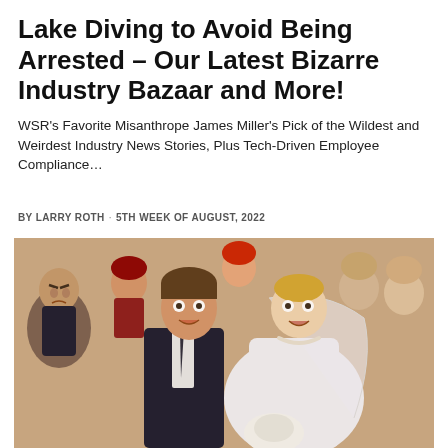Lake Diving to Avoid Being Arrested – Our Latest Bizarre Industry Bazaar and More!
WSR's Favorite Misanthrope James Miller's Pick of the Wildest and Weirdest Industry News Stories, Plus Tech-Driven Employee Compliance…
BY LARRY ROTH · 5TH WEEK OF AUGUST, 2022
[Figure (photo): A shocked-looking young couple in wedding attire — groom in dark suit with tie, bride in white wedding dress with veil and pearl necklace holding flowers — surrounded by a group of people with exaggerated expressions of surprise and discomfort in the background.]